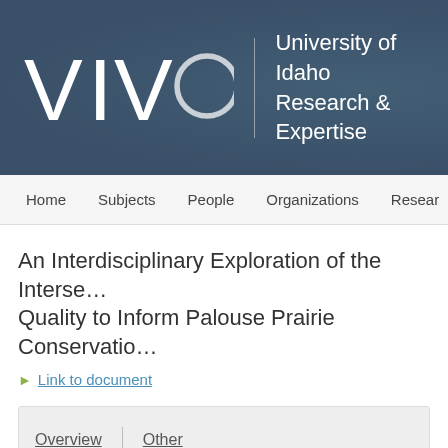[Figure (logo): VIVO logo with 'University of Idaho Research & Expertise' text on dark teal/slate background header banner]
Home | Subjects | People | Organizations | Resear…
An Interdisciplinary Exploration of the Interse… Quality to Inform Palouse Prairie Conservatio…
Link to document
Overview | Other
Overview